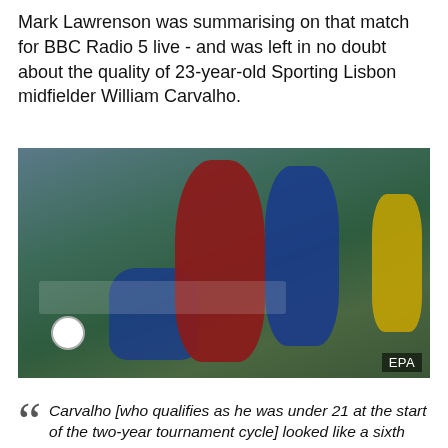Mark Lawrenson was summarising on that match for BBC Radio 5 live - and was left in no doubt about the quality of 23-year-old Sporting Lisbon midfielder William Carvalho.
[Figure (photo): Action photo of a football match showing a player in a red Portugal number 6 jersey leaping over a tackled blue-shirted opponent, with another blue-shirted player wearing number 10 challenging, and a referee in yellow in the background. An 'INTERSPORT' advertising board is visible. EPA watermark in bottom right corner.]
Carvalho [who qualifies as he was under 21 at the start of the two-year tournament cycle] looked like a sixth former in the playground playing against 11-year-olds who have just